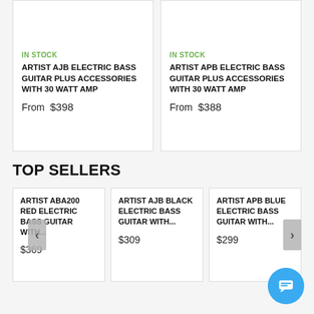[Figure (photo): Product image of Artist AJB Electric Bass Guitar Plus Accessories with 30 Watt Amp (partially visible at top)]
IN STOCK
ARTIST AJB ELECTRIC BASS GUITAR PLUS ACCESSORIES WITH 30 WATT AMP
From  $398
[Figure (photo): Product image of Artist APB Electric Bass Guitar Plus Accessories with 30 Watt Amp (partially visible at top)]
IN STOCK
ARTIST APB ELECTRIC BASS GUITAR PLUS ACCESSORIES WITH 30 WATT AMP
From  $388
TOP SELLERS
ARTIST ABA200 RED ELECTRIC BASS GUITAR WITH...
$369
ARTIST AJB BLACK ELECTRIC BASS GUITAR WITH...
$309
ARTIST APB BLUE ELECTRIC BASS GUITAR WITH...
$299